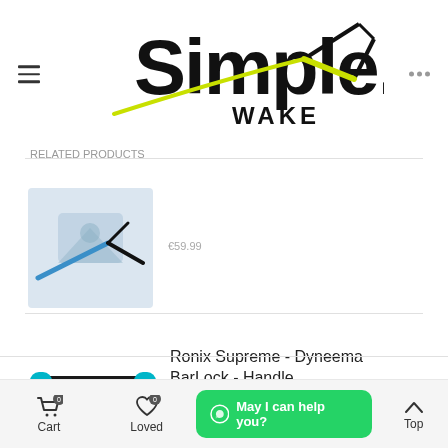[Figure (logo): Simple Wake logo with wakeboard handle graphic]
[Figure (photo): Partially visible product image in blue background tile]
[Figure (photo): Ronix Supreme Dyneema BarLock Handle product photo - teal/black bar handle]
Ronix Supreme - Dyneema BarLock - Handle
€75.00
Description
Product Details
Cart 0   Loved 0   Top   May I can help you?